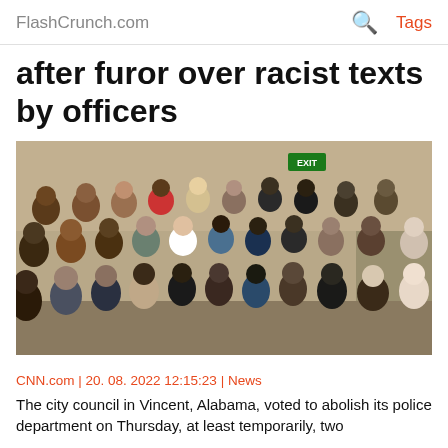FlashCrunch.com  🔍  Tags
after furor over racist texts by officers
[Figure (photo): A large crowd of people, predominantly Black, seated in rows in a community meeting hall. They appear to be attending a city council meeting or public hearing. Metal bleachers and a green EXIT sign are visible in the background.]
CNN.com | 20. 08. 2022 12:15:23 | News
The city council in Vincent, Alabama, voted to abolish its police department on Thursday, at least temporarily, two